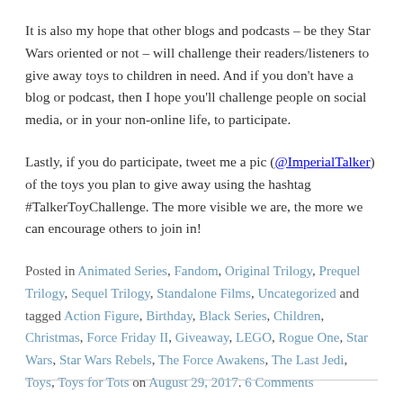It is also my hope that other blogs and podcasts – be they Star Wars oriented or not – will challenge their readers/listeners to give away toys to children in need. And if you don't have a blog or podcast, then I hope you'll challenge people on social media, or in your non-online life, to participate.
Lastly, if you do participate, tweet me a pic (@ImperialTalker) of the toys you plan to give away using the hashtag #TalkerToyChallenge. The more visible we are, the more we can encourage others to join in!
Posted in Animated Series, Fandom, Original Trilogy, Prequel Trilogy, Sequel Trilogy, Standalone Films, Uncategorized and tagged Action Figure, Birthday, Black Series, Children, Christmas, Force Friday II, Giveaway, LEGO, Rogue One, Star Wars, Star Wars Rebels, The Force Awakens, The Last Jedi, Toys, Toys for Tots on August 29, 2017. 6 Comments